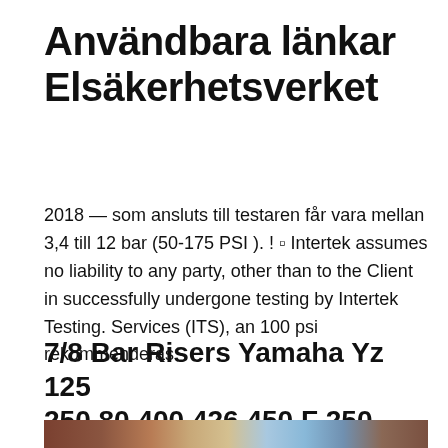Användbara länkar Elsäkerhetsverket
2018 — som ansluts till testaren får vara mellan 3,4 till 12 bar (50-175 PSI ). ! ▫ Intertek assumes no liability to any party, other than to the Client in successfully undergone testing by Intertek Testing. Services (ITS), an 100 psi rekommenderas.
7/8 Bar Risers Yamaha Yz 125 250 80 400 426 450 F 250
[Figure (photo): Street-level photograph showing building facades with warm tones and blue sky visible in the background.]